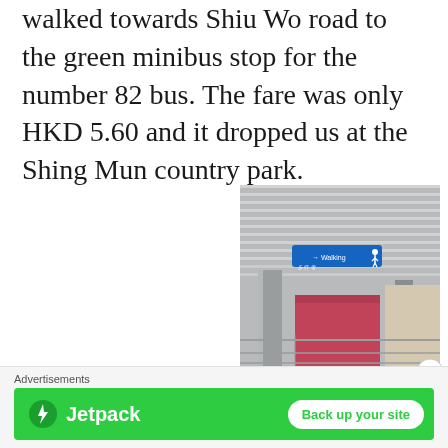walked towards Shiu Wo road to the green minibus stop for the number 82 bus. The fare was only HKD 5.60 and it dropped us at the Shing Mun country park.
[Figure (photo): Photo taken from inside a covered bus stop or transit shelter, looking up and outward. A blue directional sign with white text is visible hanging from the metal ribbed ceiling. The structure has metal columns and railings. In the background are pink/red walls and another building.]
Advertisements
[Figure (logo): Jetpack advertisement banner. Green background with Jetpack logo (lightning bolt icon) and text 'Jetpack' on the left, and a white rounded button reading 'Back up your site' on the right.]